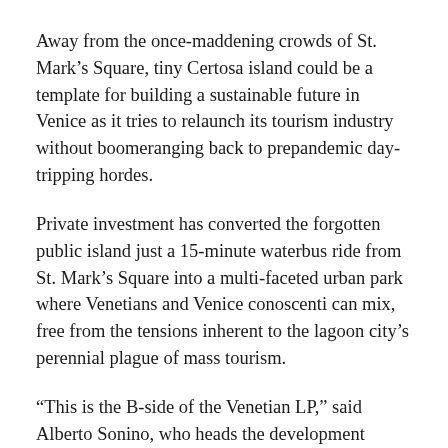Away from the once-maddening crowds of St. Mark's Square, tiny Certosa island could be a template for building a sustainable future in Venice as it tries to relaunch its tourism industry without boomeranging back to prepandemic day-tripping hordes.
Private investment has converted the forgotten public island just a 15-minute waterbus ride from St. Mark's Square into a multi-faceted urban park where Venetians and Venice conoscenti can mix, free from the tensions inherent to the lagoon city's perennial plague of mass tourism.
“This is the B-side of the Venetian LP,” said Alberto Sonino, who heads the development project that includes a hotel, marina, restaurant, and woodland. “Everyone knows the first song of the A-side of our long-play; almost nobody, not even the most expert or locals, know the lagoon as an interesting natural and cultural environment.”